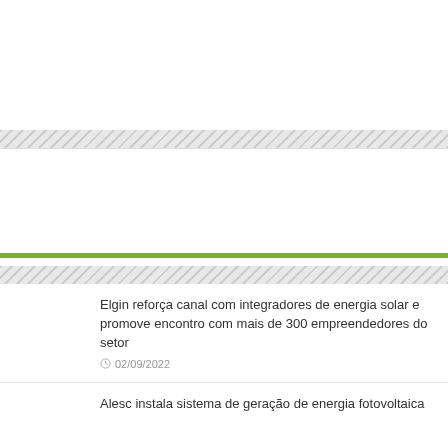[Figure (other): White blank area at top of page]
[Figure (other): Diagonal hatched band (gray/white stripes)]
[Figure (other): White content block with green bottom bar]
[Figure (other): Diagonal hatched band (gray/white stripes)]
Elgin reforça canal com integradores de energia solar e promove encontro com mais de 300 empreendedores do setor
02/09/2022
Alesc instala sistema de geração de energia fotovoltaica